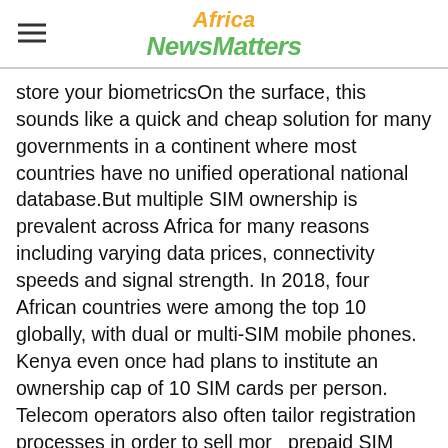Africa NewsMatters
store your biometricsOn the surface, this sounds like a quick and cheap solution for many governments in a continent where most countries have no unified operational national database.But multiple SIM ownership is prevalent across Africa for many reasons including varying data prices, connectivity speeds and signal strength. In 2018, four African countries were among the top 10 globally, with dual or multi-SIM mobile phones. Kenya even once had plans to institute an ownership cap of 10 SIM cards per person. Telecom operators also often tailor registration processes in order to sell more prepaid SIM cards.Experts say the outcome that the data gleaned from SIM